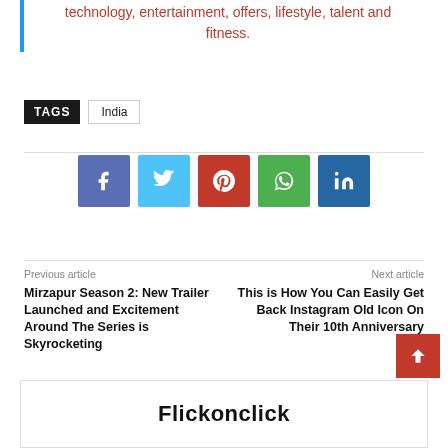technology, entertainment, offers, lifestyle, talent and fitness.
TAGS  India
[Figure (infographic): Row of 5 social media share buttons: Facebook (blue-purple), Twitter (light blue), Pinterest (red), WhatsApp (green), LinkedIn (dark blue)]
Previous article
Mirzapur Season 2: New Trailer Launched and Excitement Around The Series is Skyrocketing
Next article
This is How You Can Easily Get Back Instagram Old Icon On Their 10th Anniversary
Flickonclick